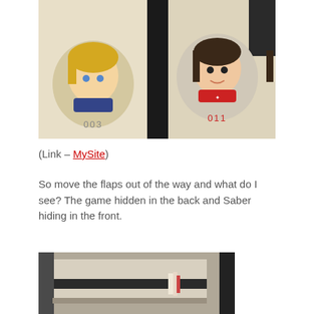[Figure (photo): Photo of anime character merchandise cards/booklets showing two circular portrait illustrations labeled 003 and 011, on a light beige background with a dark folded flap visible in the middle]
(Link – MySite)
So move the flaps out of the way and what do I see? The game hidden in the back and Saber hiding in the front.
[Figure (photo): Photo of a box or case shot from above, showing a dark horizontal stripe/slot with some cards or paper items partially visible inside, on a beige/gray surface]